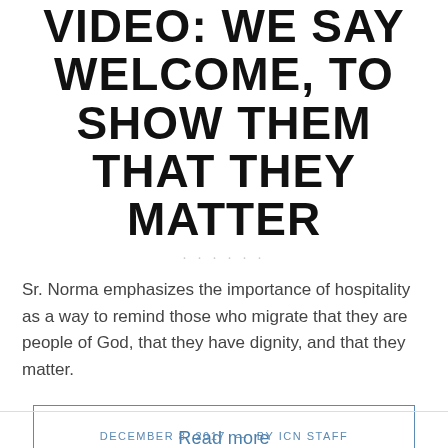VIDEO: WE SAY WELCOME, TO SHOW THEM THAT THEY MATTER
Sr. Norma emphasizes the importance of hospitality as a way to remind those who migrate that they are people of God, that they have dignity, and that they matter.
Read more
DECEMBER 8, 2017 — BY ICN STAFF